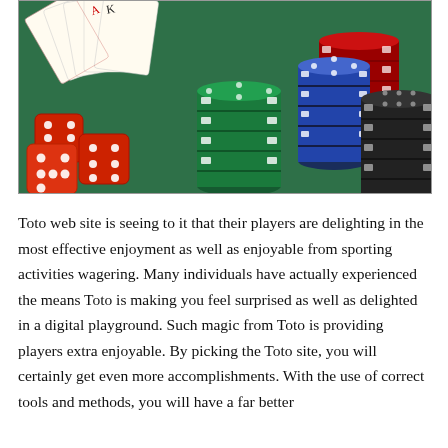[Figure (photo): Casino themed photo showing red transparent dice, stacks of green, black, red, and blue-white poker chips on a green felt table surface, with playing cards fanned out in the background.]
Toto web site is seeing to it that their players are delighting in the most effective enjoyment as well as enjoyable from sporting activities wagering. Many individuals have actually experienced the means Toto is making you feel surprised as well as delighted in a digital playground. Such magic from Toto is providing players extra enjoyable. By picking the Toto site, you will certainly get even more accomplishments. With the use of correct tools and methods, you will have a far better